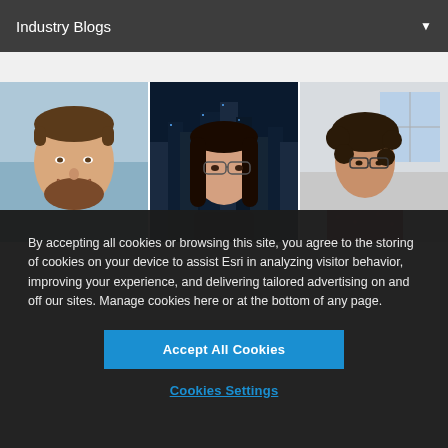Industry Blogs
[Figure (photo): Three profile photos side by side: a smiling bearded man with water/sky background, a woman with long dark hair and glasses with city skyline at night background, and a woman with curly hair and glasses in a red top with office background.]
By accepting all cookies or browsing this site, you agree to the storing of cookies on your device to assist Esri in analyzing visitor behavior, improving your experience, and delivering tailored advertising on and off our sites. Manage cookies here or at the bottom of any page.
Accept All Cookies
Cookies Settings